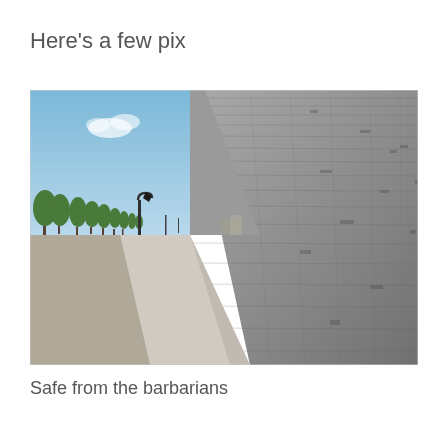Here's a few pix
[Figure (photo): Photograph of a long ancient stone/brick city wall stretching into the distance. A street runs alongside the wall with trees and street lamps. Blue sky with light clouds above. The perspective is taken from ground level looking down the wall.]
Safe from the barbarians